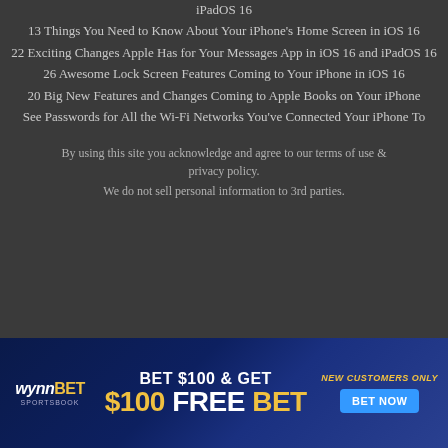iPadOS 16
13 Things You Need to Know About Your iPhone's Home Screen in iOS 16
22 Exciting Changes Apple Has for Your Messages App in iOS 16 and iPadOS 16
26 Awesome Lock Screen Features Coming to Your iPhone in iOS 16
20 Big New Features and Changes Coming to Apple Books on Your iPhone
See Passwords for All the Wi-Fi Networks You've Connected Your iPhone To
By using this site you acknowledge and agree to our terms of use & privacy policy.
We do not sell personal information to 3rd parties.
[Figure (infographic): WynnBET Sportsbook advertisement: BET $100 & GET $100 FREE BET. NEW CUSTOMERS ONLY. BET NOW button.]